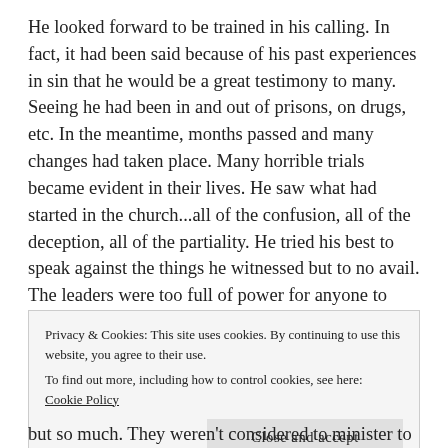He looked forward to be trained in his calling. In fact, it had been said because of his past experiences in sin that he would be a great testimony to many. Seeing he had been in and out of prisons, on drugs, etc. In the meantime, months passed and many changes had taken place. Many horrible trials became evident in their lives. He saw what had started in the church...all of the confusion, all of the deception, all of the partiality. He tried his best to speak against the things he witnessed but to no avail. The leaders were too full of power for anyone to come to them with anything you didn't agree with. You were considered disobedient or a radical to come against the rules of the
Privacy & Cookies: This site uses cookies. By continuing to use this website, you agree to their use.
To find out more, including how to control cookies, see here: Cookie Policy
but so much. They weren't considered to minister to